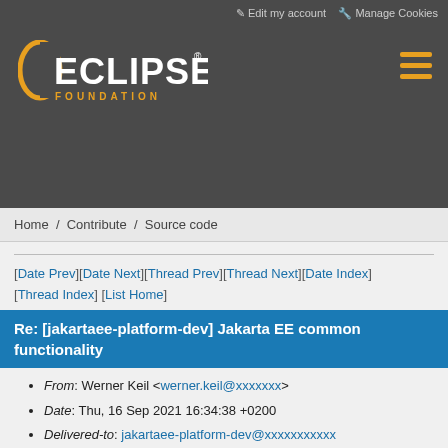Edit my account   Manage Cookies
[Figure (logo): Eclipse Foundation logo with orange arc and 'ECLIPSE' in white, 'FOUNDATION' in orange below]
Home / Contribute / Source code
[Date Prev][Date Next][Thread Prev][Thread Next][Date Index][Thread Index] [List Home]
Re: [jakartaee-platform-dev] Jakarta EE common functionality
From: Werner Keil <werner.keil@xxxxxxx>
Date: Thu, 16 Sep 2021 16:34:38 +0200
Delivered-to: jakartaee-platform-dev@xxxxxxxxxxx
Importance: normal
List-archive: <https://www.eclipse.org/mailman/private/jakartaee-platform-dev/>